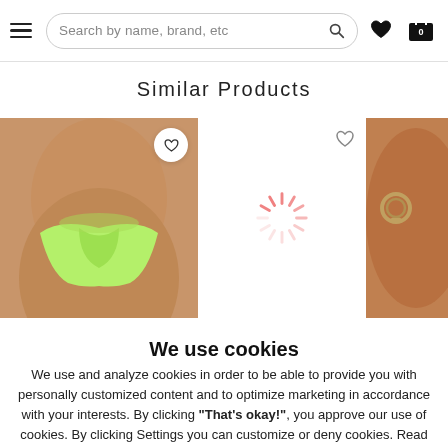Search by name, brand, etc
Similar Products
[Figure (photo): Green thong bikini bottom on a model, rear view]
[Figure (other): Loading spinner animation in pink/salmon color]
[Figure (photo): Partial view of a model wearing a swimsuit with ring hardware detail]
We use cookies
We use and analyze cookies in order to be able to provide you with personally customized content and to optimize marketing in accordance with your interests. By clicking "That's okay!", you approve our use of cookies. By clicking Settings you can customize or deny cookies. Read more about how we use cookies here.